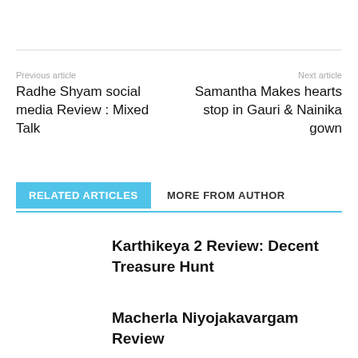Previous article
Radhe Shyam social media Review : Mixed Talk
Next article
Samantha Makes hearts stop in Gauri & Nainika gown
RELATED ARTICLES
MORE FROM AUTHOR
Karthikeya 2 Review: Decent Treasure Hunt
Macherla Niyojakavargam Review